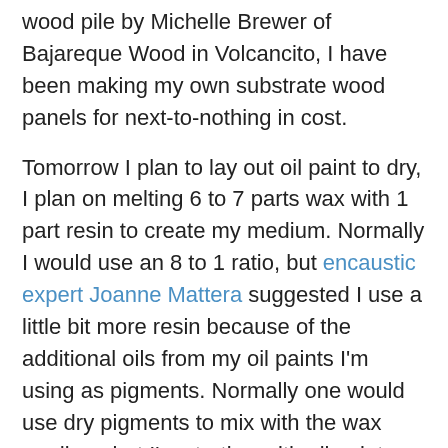wood pile by Michelle Brewer of Bajareque Wood in Volcancito, I have been making my own substrate wood panels for next-to-nothing in cost.
Tomorrow I plan to lay out oil paint to dry, I plan on melting 6 to 7 parts wax with 1 part resin to create my medium. Normally I would use an 8 to 1 ratio, but encaustic expert Joanne Mattera suggested I use a little bit more resin because of the additional oils from my oil paints I'm using as pigments. Normally one would use dry pigments to mix with the wax medium, but I'm starting with oil paints as they are more accessible here in Panama.
I don't have any photos to show you, but I would like to begin referencing some of my favorites in this industry. I love love love the work of Gilda Snowden. She is a Detroit artist my age and loves to upload videos. I've watched almost every one and this recent one has really captivated me. I plan on painting in the pouring style she